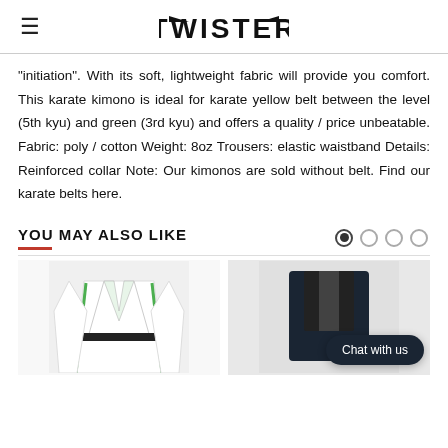TWISTER
"initiation". With its soft, lightweight fabric will provide you comfort. This karate kimono is ideal for karate yellow belt between the level (5th kyu) and green (3rd kyu) and offers a quality / price unbeatable. Fabric: poly / cotton Weight: 8oz Trousers: elastic waistband Details: Reinforced collar Note: Our kimonos are sold without belt. Find our karate belts here.
YOU MAY ALSO LIKE
[Figure (photo): White karate kimono with green accents and black belt]
[Figure (photo): Dark colored martial arts gear with Chat with us button overlay]